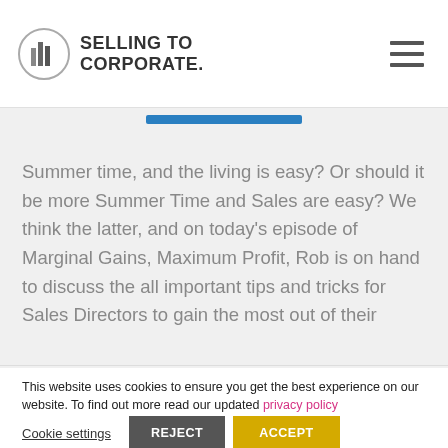SELLING TO CORPORATE
Summer time, and the living is easy? Or should it be more Summer Time and Sales are easy? We think the latter, and on today's episode of Marginal Gains, Maximum Profit, Rob is on hand to discuss the all important tips and tricks for Sales Directors to gain the most out of their
This website uses cookies to ensure you get the best experience on our website. To find out more read our updated privacy policy
Cookie settings  REJECT  ACCEPT